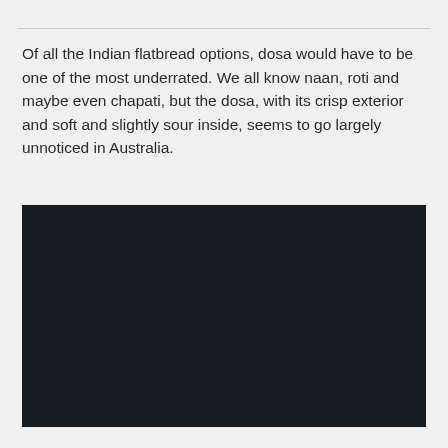Of all the Indian flatbread options, dosa would have to be one of the most underrated. We all know naan, roti and maybe even chapati, but the dosa, with its crisp exterior and soft and slightly sour inside, seems to go largely unnoticed in Australia.
[Figure (photo): A dark/black image, likely a photo of a dosa or related food item that appears very dark or unloaded.]